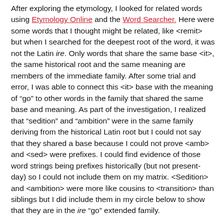After exploring the etymology, I looked for related words using Etymology Online and the Word Searcher. Here were some words that I thought might be related, like <remit> but when I searched for the deepest root of the word, it was not the Latin ire. Only words that share the same base <it>, the same historical root and the same meaning are members of the immediate family. After some trial and error, I was able to connect this <it> base with the meaning of “go” to other words in the family that shared the same base and meaning. As part of the investigation, I realized that “sedition” and “ambition” were in the same family deriving from the historical Latin root but I could not say that they shared a base because I could not prove <amb> and <sed> were prefixes. I could find evidence of those word strings being prefixes historically (but not present-day) so I could not include them on my matrix. <Sedition> and <ambition> were more like cousins to <transition> than siblings but I did include them in my circle below to show that they are in the ire “go” extended family.